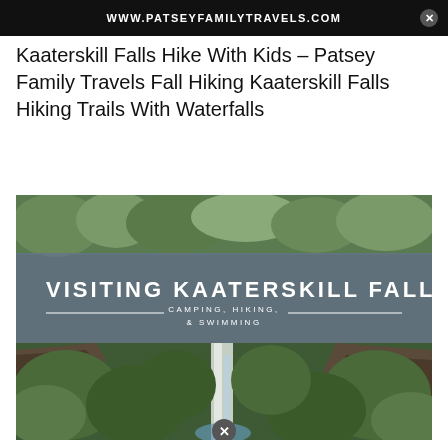[Figure (screenshot): Dark banner at top with white bold text: WWW.PATSEYFAMILYTRAVELS.COM and a close/X button on the right.]
Kaaterskill Falls Hike With Kids – Patsey Family Travels Fall Hiking Kaaterskill Falls Hiking Trails With Waterfalls
[Figure (photo): Aerial drone photograph of Kaaterskill Falls waterfall surrounded by lush green forest. The image has an overlaid semi-transparent slate-blue banner reading 'VISITING KAATERSKILL FALLS' in large white uppercase letters with subtitle 'CAMPING, HIKING, & SWIMMING'. Below the banner, a dramatic aerial view of the tall waterfall cascading down rocky cliffs into a pool, surrounded by dense green trees. A small close/X button appears at bottom-center of the image.]